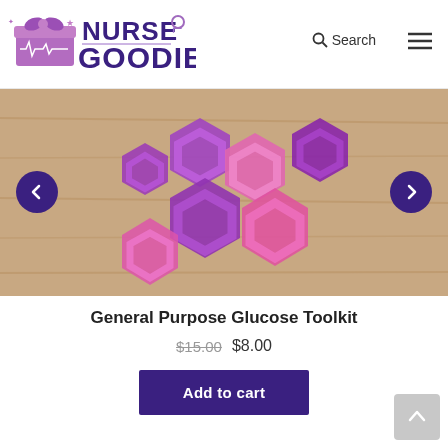[Figure (logo): Nurse Goodies logo with gift box icon and stethoscope, purple/violet text]
Search  ☰
[Figure (photo): Photo of pink and purple hexagonal 3D-printed shapes (glucose toolkit pieces) arranged on a wooden surface]
General Purpose Glucose Toolkit
$15.00 $8.00
Add to cart